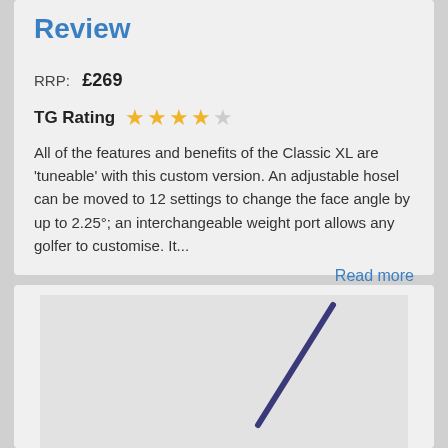Review
RRP: £269
TG Rating ★★★★☆
All of the features and benefits of the Classic XL are 'tuneable' with this custom version. An adjustable hosel can be moved to 12 settings to change the face angle by up to 2.25°; an interchangeable weight port allows any golfer to customise. It...
Read more
[Figure (photo): Partial image of a golf club (driver) with a dark blue/purple shaft against a light grey background]